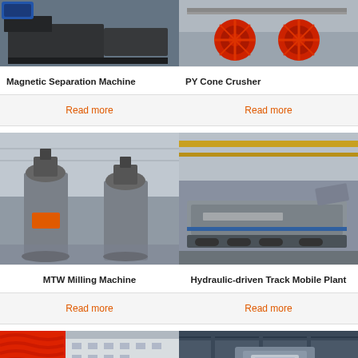[Figure (photo): Magnetic Separation Machine - industrial magnetic separator equipment in a facility]
[Figure (photo): PY Cone Crusher - large industrial cone crushers with red flywheels outdoors]
Magnetic Separation Machine
Read more
PY Cone Crusher
Read more
[Figure (photo): MTW Milling Machine - large vertical milling machines inside an industrial warehouse]
[Figure (photo): Hydraulic-driven Track Mobile Plant - mobile crushing plant on tracks inside a factory hall]
MTW Milling Machine
Read more
Hydraulic-driven Track Mobile Plant
Read more
[Figure (photo): Red industrial spiral/screw conveyor equipment outdoors beside a building]
[Figure (photo): Industrial equipment inside a large factory building, blue-tinted interior]